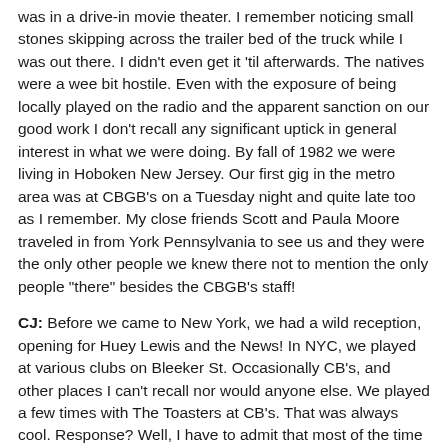was in a drive-in movie theater. I remember noticing small stones skipping across the trailer bed of the truck while I was out there. I didn't even get it 'til afterwards. The natives were a wee bit hostile. Even with the exposure of being locally played on the radio and the apparent sanction on our good work I don't recall any significant uptick in general interest in what we were doing. By fall of 1982 we were living in Hoboken New Jersey. Our first gig in the metro area was at CBGB's on a Tuesday night and quite late too as I remember. My close friends Scott and Paula Moore traveled in from York Pennsylvania to see us and they were the only other people we knew there not to mention the only people "there" besides the CBGB's staff!
CJ: Before we came to New York, we had a wild reception, opening for Huey Lewis and the News! In NYC, we played at various clubs on Bleeker St. Occasionally CB's, and other places I can't recall nor would anyone else. We played a few times with The Toasters at CB's. That was always cool. Response? Well, I have to admit that most of the time it was not that great. I mean, those who liked us, really liked us; but there weren't many of them. I think it was hard to place us musically. The audience (and even us we weren't sure) didn't...